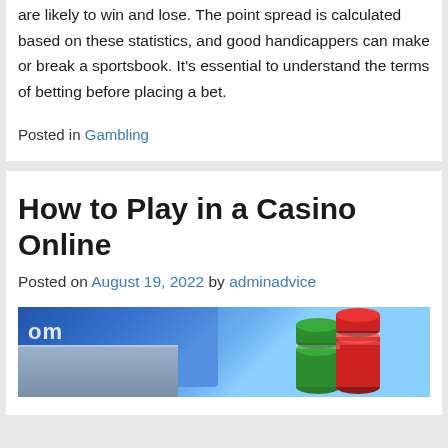are likely to win and lose. The point spread is calculated based on these statistics, and good handicappers can make or break a sportsbook. It's essential to understand the terms of betting before placing a bet.
Posted in Gambling
How to Play in a Casino Online
Posted on August 19, 2022 by adminadvice
[Figure (photo): Photo of casino chips stacked on a laptop keyboard, representing online casino play]